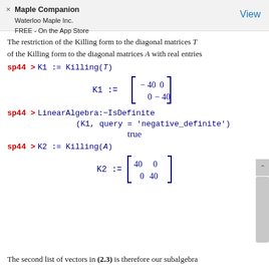Maple Companion
Waterloo Maple Inc.
FREE - On the App Store
View
The restriction of the Killing form to the diagonal matrices T of the Killing form to the diagonal matrices A with real entries
The second list of vectors in (2.3) is therefore our subalgebra